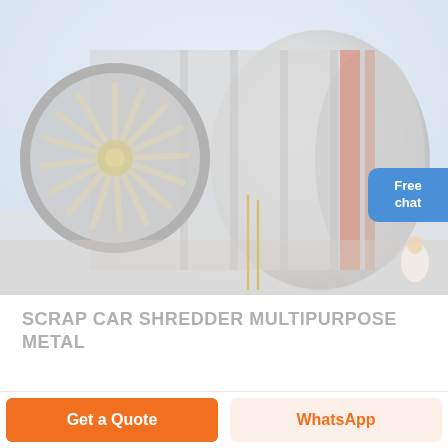[Figure (photo): Large industrial scrap car shredder / multipurpose metal shredding machine. The image shows a large cylindrical drum/roller industrial machine with a circular fan/blade inlet on the left side. The machine is predominantly white/grey metal. A small figure of a woman wearing white appears in the upper right corner of the image. Two vertical golden/yellow lines appear in the center of the image. A blue 'Free chat' button overlays the right side of the image.]
SCRAP CAR SHREDDER MULTIPURPOSE METAL
WAHZS Heavy Industry is a high-tech company integrating
Get a Quote
WhatsApp